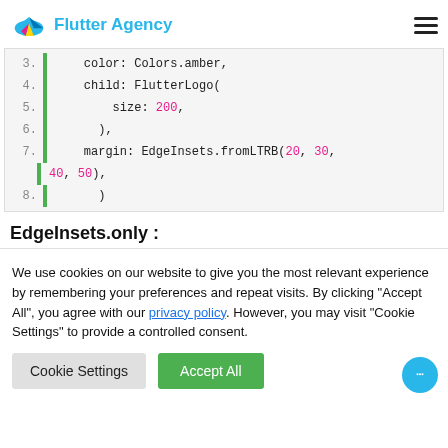Flutter Agency
[Figure (screenshot): Code block showing Flutter/Dart code lines 3-8 with green sidebar, monospace font, pink numeric values (200, 20, 30, 40, 50), light gray background]
EdgeInsets.only :
We use cookies on our website to give you the most relevant experience by remembering your preferences and repeat visits. By clicking "Accept All", you agree with our privacy policy. However, you may visit "Cookie Settings" to provide a controlled consent.